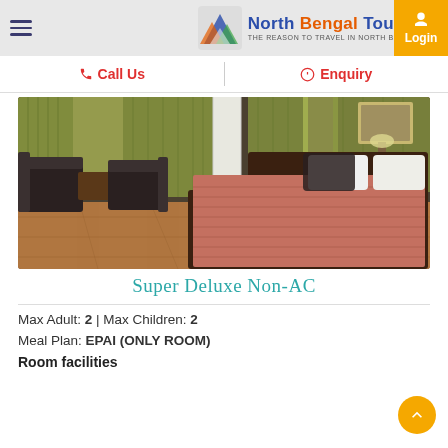North Bengal Tourism — THE REASON TO TRAVEL IN NORTH BENGAL
Call Us | Enquiry
[Figure (photo): Hotel room interior showing a double bed with pink/salmon bedspread, dark wooden frame, white pillows with dark accent pillows, seating area with dark chairs, wooden flooring, curtains, and a framed picture on the wall.]
Super Deluxe Non-AC
Max Adult: 2 | Max Children: 2
Meal Plan: EPAI (ONLY ROOM)
Room facilities